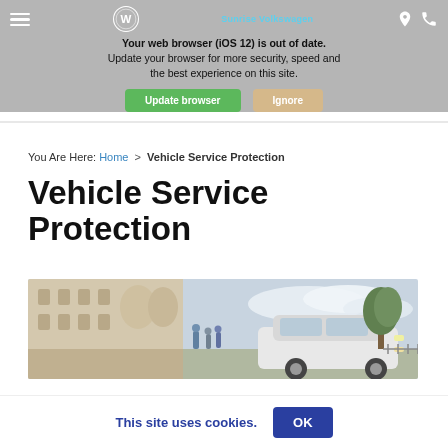Your web browser (iOS 12) is out of date. Update your browser for more security, speed and the best experience on this site. | Update browser | Ignore | Sunrise Volkswagen
You Are Here: Home > Vehicle Service Protection
Vehicle Service Protection
[Figure (photo): A white Volkswagen sedan parked in front of a building with trees and cloudy sky background, with a family walking in the background.]
This site uses cookies. OK